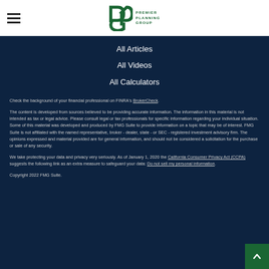[Figure (logo): Premier Planning Group logo with PPG letters and text PREMIER PLANNING GROUP]
All Articles
All Videos
All Calculators
All Presentations
Check the background of your financial professional on FINRA's BrokerCheck.
The content is developed from sources believed to be providing accurate information. The information in this material is not intended as tax or legal advice. Please consult legal or tax professionals for specific information regarding your individual situation. Some of this material was developed and produced by FMG Suite to provide information on a topic that may be of interest. FMG Suite is not affiliated with the named representative, broker - dealer, state - or SEC - registered investment advisory firm. The opinions expressed and material provided are for general information, and should not be considered a solicitation for the purchase or sale of any security.
We take protecting your data and privacy very seriously. As of January 1, 2020 the California Consumer Privacy Act (CCPA) suggests the following link as an extra measure to safeguard your data: Do not sell my personal information.
Copyright 2022 FMG Suite.